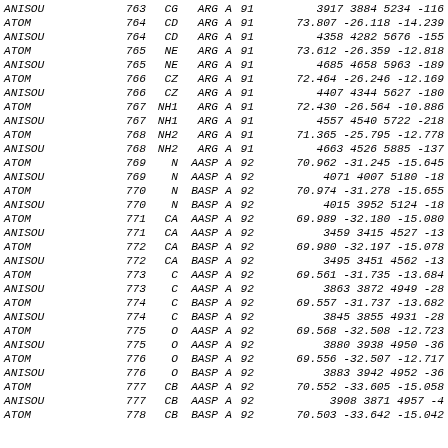| ANISOU | 763 | CG | ARG | A | 91 | 3917    3884    5234    -116 |
| ATOM | 764 | CD | ARG | A | 91 | 73.807 -26.118 -14.239 |
| ANISOU | 764 | CD | ARG | A | 91 | 4358    4282    5676    -155 |
| ATOM | 765 | NE | ARG | A | 91 | 73.612 -26.359 -12.818 |
| ANISOU | 765 | NE | ARG | A | 91 | 4685    4658    5963    -189 |
| ATOM | 766 | CZ | ARG | A | 91 | 72.464 -26.246 -12.169 |
| ANISOU | 766 | CZ | ARG | A | 91 | 4407    4344    5627    -180 |
| ATOM | 767 | NH1 | ARG | A | 91 | 72.430 -26.564 -10.886 |
| ANISOU | 767 | NH1 | ARG | A | 91 | 4557    4540    5722    -218 |
| ATOM | 768 | NH2 | ARG | A | 91 | 71.365 -25.795 -12.778 |
| ANISOU | 768 | NH2 | ARG | A | 91 | 4663    4526    5885    -137 |
| ATOM | 769 | N | AASP | A | 92 | 70.962 -31.245 -15.645 |
| ANISOU | 769 | N | AASP | A | 92 | 4071    4007    5180     -18 |
| ATOM | 770 | N | BASP | A | 92 | 70.974 -31.278 -15.655 |
| ANISOU | 770 | N | BASP | A | 92 | 4015    3952    5124     -18 |
| ATOM | 771 | CA | AASP | A | 92 | 69.989 -32.180 -15.080 |
| ANISOU | 771 | CA | AASP | A | 92 | 3459    3415    4527     -13 |
| ATOM | 772 | CA | BASP | A | 92 | 69.980 -32.197 -15.078 |
| ANISOU | 772 | CA | BASP | A | 92 | 3495    3451    4562     -13 |
| ATOM | 773 | C | AASP | A | 92 | 69.561 -31.735 -13.684 |
| ANISOU | 773 | C | AASP | A | 92 | 3863    3872    4949     -28 |
| ATOM | 774 | C | BASP | A | 92 | 69.557 -31.737 -13.682 |
| ANISOU | 774 | C | BASP | A | 92 | 3845    3855    4931     -28 |
| ATOM | 775 | O | AASP | A | 92 | 69.568 -32.508 -12.723 |
| ANISOU | 775 | O | AASP | A | 92 | 3880    3938    4950     -36 |
| ATOM | 776 | O | BASP | A | 92 | 69.556 -32.507 -12.717 |
| ANISOU | 776 | O | BASP | A | 92 | 3883    3942    4952     -36 |
| ATOM | 777 | CB | AASP | A | 92 | 70.552 -33.605 -15.058 |
| ANISOU | 777 | CB | AASP | A | 92 | 3908    3871    4957      -4 |
| ATOM | 778 | CB | BASP | A | 92 | 70.503 -33.642 -15.042 |